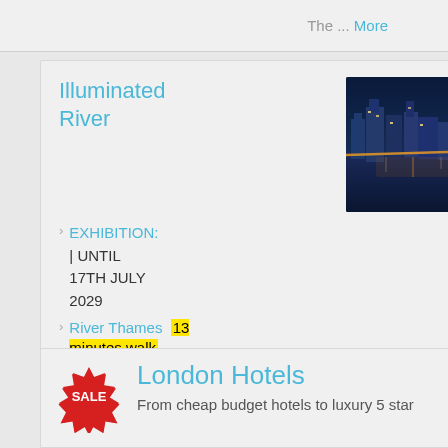The ... More
Illuminated River
[Figure (photo): Aerial night photo of illuminated London cityscape and river]
EXHIBITION: | UNTIL 17TH JULY 2029
River Thames  13 minutes walk
Lighting up London's main waterway, Illuminated River will be one of the longest public art projects in the world when ... More
London Hotels
From cheap budget hotels to luxury 5 star